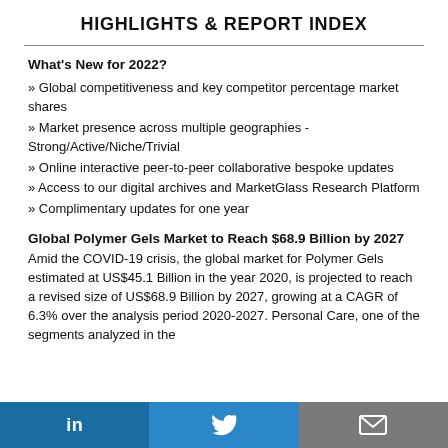HIGHLIGHTS & REPORT INDEX
What's New for 2022?
» Global competitiveness and key competitor percentage market shares
» Market presence across multiple geographies - Strong/Active/Niche/Trivial
» Online interactive peer-to-peer collaborative bespoke updates
» Access to our digital archives and MarketGlass Research Platform
» Complimentary updates for one year
Global Polymer Gels Market to Reach $68.9 Billion by 2027
Amid the COVID-19 crisis, the global market for Polymer Gels estimated at US$45.1 Billion in the year 2020, is projected to reach a revised size of US$68.9 Billion by 2027, growing at a CAGR of 6.3% over the analysis period 2020-2027. Personal Care, one of the segments analyzed in the
in  |  (Twitter bird)  |  (Email)